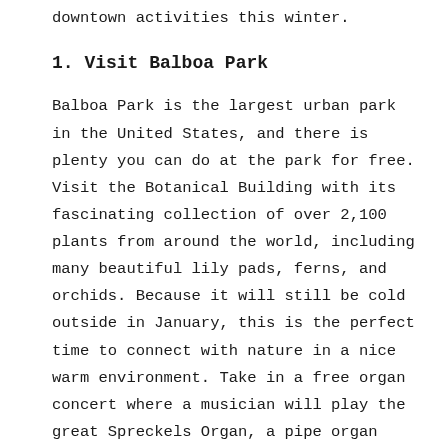downtown activities this winter.
1. Visit Balboa Park
Balboa Park is the largest urban park in the United States, and there is plenty you can do at the park for free. Visit the Botanical Building with its fascinating collection of over 2,100 plants from around the world, including many beautiful lily pads, ferns, and orchids. Because it will still be cold outside in January, this is the perfect time to connect with nature in a nice warm environment. Take in a free organ concert where a musician will play the great Spreckels Organ, a pipe organ built out of rare woods. Listening to the beautiful music is a great way to enjoy a crisp winter day in San Diego. Visit the Timken Museum of Art featuring